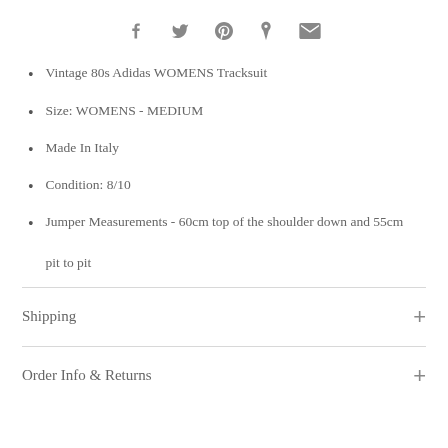[Figure (other): Social share icons: Facebook, Twitter, Pinterest, Fancy, Email]
Vintage 80s Adidas WOMENS Tracksuit
Size: WOMENS - MEDIUM
Made In Italy
Condition: 8/10
Jumper Measurements - 60cm top of the shoulder down and 55cm pit to pit
Shipping
Order Info & Returns